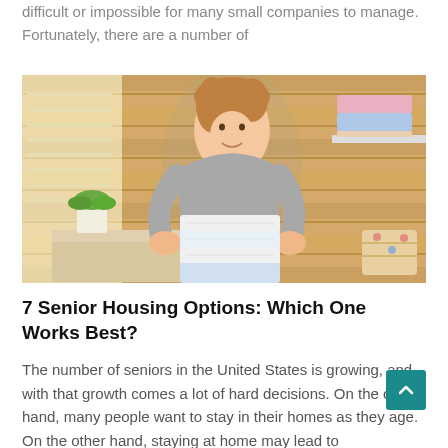difficult or impossible for many small companies to manage. Fortunately, there are a number of
[Figure (photo): A smiling young woman holding a stack of neatly folded towels/linens, standing in a laundry room with wooden plank walls, a small green plant and folded colorful towels on a shelf in the background.]
7 Senior Housing Options: Which One Works Best?
The number of seniors in the United States is growing, and with that growth comes a lot of hard decisions. On the one hand, many people want to stay in their homes as they age. On the other hand, staying at home may lead to